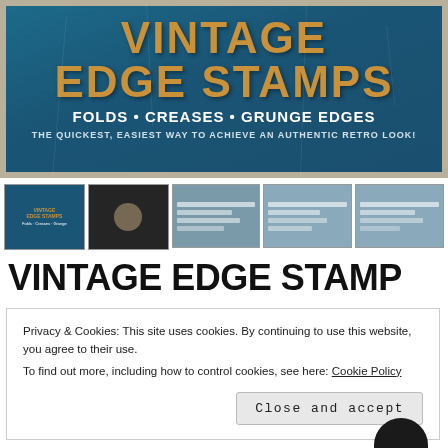[Figure (illustration): Vintage Edge Stamps product banner with blue grunge textured background, orange serif title 'VINTAGE EDGE STAMPS', subtitle 'FOLDS • CREASES • GRUNGE EDGES', and tagline 'THE QUICKEST, EASIEST WAY TO ACHIEVE AN AUTHENTIC RETRO LOOK!']
[Figure (illustration): Row of 5 thumbnail preview images of the Vintage Edge Stamps product showing cover and sample pages]
VINTAGE EDGE STAMP
Privacy & Cookies: This site uses cookies. By continuing to use this website, you agree to their use.
To find out more, including how to control cookies, see here: Cookie Policy
Close and accept